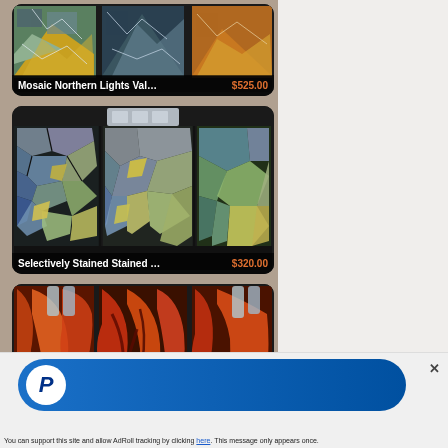[Figure (screenshot): Product listing card: Mosaic Northern Lights Valhalla Scr... priced at $525.00. Shows a triptych mosaic artwork with icy mountain/aurora borealis theme.]
[Figure (screenshot): Product listing card: Selectively Stained Stained Glass V... priced at $320.00. Shows a triptych stained glass artwork with mosaic geometric pattern in blue, green, yellow tones.]
[Figure (screenshot): Product listing card (partial): Shows a triptych glass art piece with orange/red/amber tones, partially cut off at bottom.]
[Figure (screenshot): PayPal advertisement banner at the bottom of the page with blue gradient pill-shaped button and PayPal logo.]
You can support this site and allow AdRoll tracking by clicking here. This message only appears once.